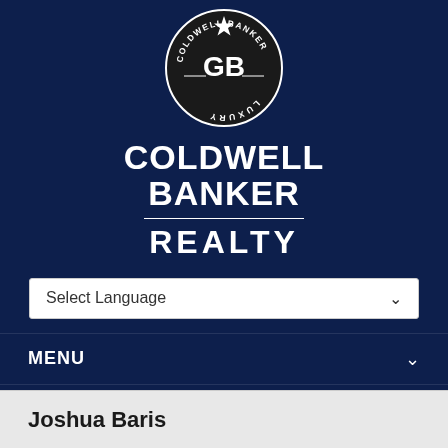[Figure (logo): Coldwell Banker Luxury circular logo with GB initials and star, white on black circle]
COLDWELL BANKER REALTY
Select Language
MENU
LOCATIONS
FOLLOW
Joshua Baris